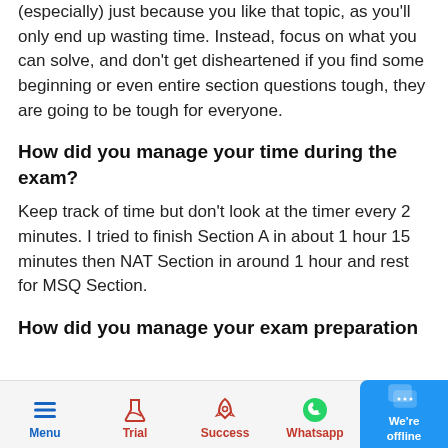(especially) just because you like that topic, as you'll only end up wasting time. Instead, focus on what you can solve, and don't get disheartened if you find some beginning or even entire section questions tough, they are going to be tough for everyone.
How did you manage your time during the exam?
Keep track of time but don't look at the timer every 2 minutes. I tried to finish Section A in about 1 hour 15 minutes then NAT Section in around 1 hour and rest for MSQ Section.
How did you manage your exam preparation
[Figure (screenshot): Bottom navigation bar with Menu (blue), Trial (red), Success (red), Whatsapp (green) icons and a blue chat bubble (We're offline) on the right]